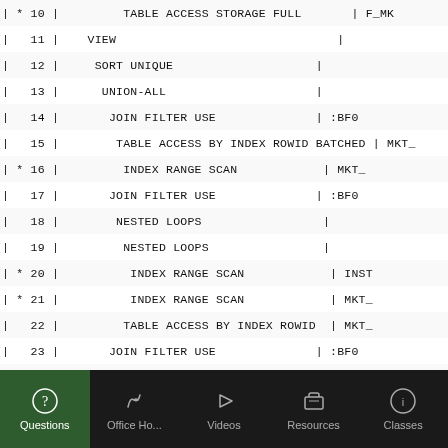| * | 10 | TABLE ACCESS STORAGE FULL | F_MK |
|  | 11 | VIEW |  |
|  | 12 | SORT UNIQUE |  |
|  | 13 | UNION-ALL |  |
|  | 14 | JOIN FILTER USE | :BF0 |
|  | 15 | TABLE ACCESS BY INDEX ROWID BATCHED | MKT_ |
| * | 16 | INDEX RANGE SCAN | MKT_ |
|  | 17 | JOIN FILTER USE | :BF0 |
|  | 18 | NESTED LOOPS |  |
|  | 19 | NESTED LOOPS |  |
| * | 20 | INDEX RANGE SCAN | INST |
| * | 21 | INDEX RANGE SCAN | MKT_ |
|  | 22 | TABLE ACCESS BY INDEX ROWID | MKT_ |
|  | 23 | JOIN FILTER USE | :BF0 |
|  | 24 | NESTED LOOPS |  |
|  | 25 | TABLE ACCESS BY INDEX ROWID | INST |
| * | 26 | INDEX UNIQUE SCAN | INST |
|  | 27 | TABLE ACCESS BY INDEX ROWID BATCHED | MKT_ |
| * | 28 | INDEX RANGE SCAN | MKT_ |
|  | 29 | JOIN FILTER USE | :BF0 |
|  | 30 | NESTED LOOPS |  |
|  | 31 | NESTED LOOPS |  |
| * | 32 | INDEX RANGE SCAN | INST |
|  | 33 | TABLE ACCESS BY INDEX ROWID | INST |
[Figure (other): Mobile app bottom navigation bar with tabs: Questions (active, green background), Office Ho..., Videos, Resources, Classes]